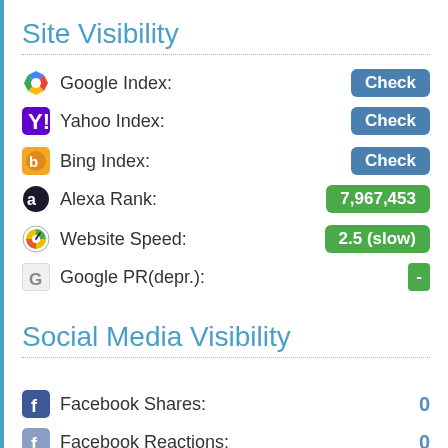Site Visibility
Google Index: Check
Yahoo Index: Check
Bing Index: Check
Alexa Rank: 7,967,453
Website Speed: 2.5 (slow)
Google PR(depr.): -
Social Media Visibility
Facebook Shares: 0
Facebook Reactions: 0